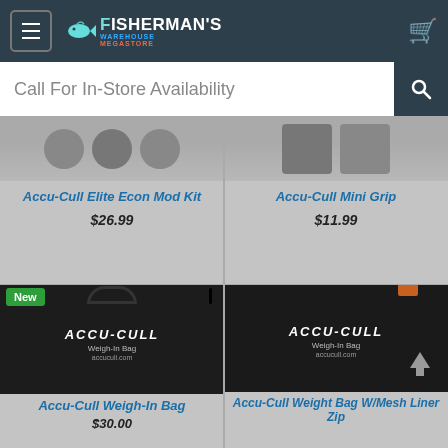Fisherman's Warehouse - Navigation header with menu, logo, and cart
Call For In-Store Availability
Accu-Cull Elite Econ Mod Kit $26.99
Accu-Cull Mini Grip $11.99
New
[Figure (photo): Accu-Cull Weigh-In Bag - black drawstring bag with ACCU-CULL branding]
Accu-Cull Weigh-In Bag
$30.00
[Figure (photo): Accu-Cull Weight Bag W/Mesh Liner Zip - black bag with ACCU-CULL branding and up arrow]
Accu-Cull Weight Bag W/Mesh Liner Zip